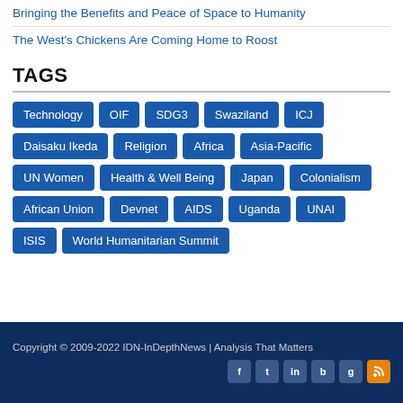Bringing the Benefits and Peace of Space to Humanity
The West's Chickens Are Coming Home to Roost
TAGS
Technology OIF SDG3 Swaziland ICJ Daisaku Ikeda Religion Africa Asia-Pacific UN Women Health & Well Being Japan Colonialism African Union Devnet AIDS Uganda UNAI ISIS World Humanitarian Summit
Copyright © 2009-2022 IDN-InDepthNews | Analysis That Matters